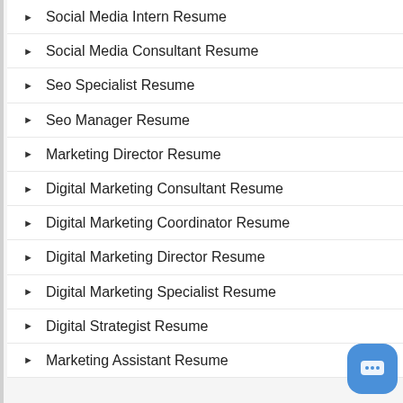Social Media Intern Resume
Social Media Consultant Resume
Seo Specialist Resume
Seo Manager Resume
Marketing Director Resume
Digital Marketing Consultant Resume
Digital Marketing Coordinator Resume
Digital Marketing Director Resume
Digital Marketing Specialist Resume
Digital Strategist Resume
Marketing Assistant Resume